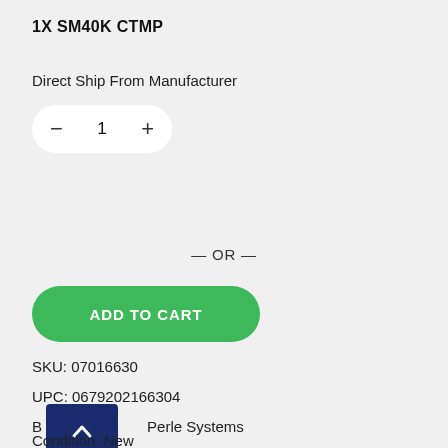1X SM40K CTMP
Direct Ship From Manufacturer
— OR —
ADD TO CART
SKU: 07016630
UPC: 0679202166304
Brand: Perle Systems
Condition: New